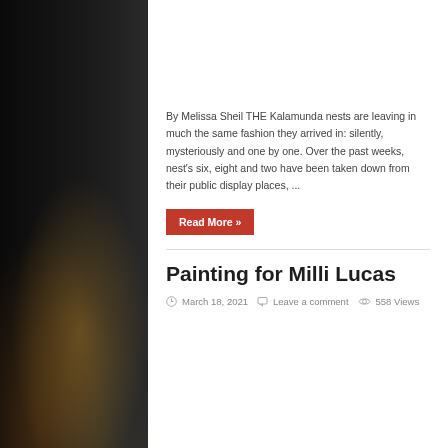[Figure (photo): Dark city nightscape background on left and right sides with orange and purple city lights visible]
By Melissa Sheil THE Kalamunda nests are leaving in much the same fashion they arrived in: silently, mysteriously and one by one. Over the past weeks, nest's six, eight and two have been taken down from their public display places, ...
Read More »
Painting for Milli Lucas
March 18, 2021  Leave a comment  558 Views